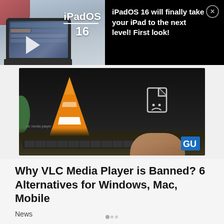[Figure (screenshot): Advertisement banner for iPadOS 16 video. Left side shows iPad device with keyboard and play button, text 'iPadOS 16'. Right side on black background shows text 'iPadOS 16 will finally take your iPad to the next level! First look!' with a close (X) button.]
[Figure (screenshot): Thumbnail image showing VLC Media Player orange traffic cone logo on a dark laptop screen, with an error/broken file icon to the right. A hand is visible on the keyboard below. GU logo watermark in bottom right corner.]
Why VLC Media Player is Banned? 6 Alternatives for Windows, Mac, Mobile
News